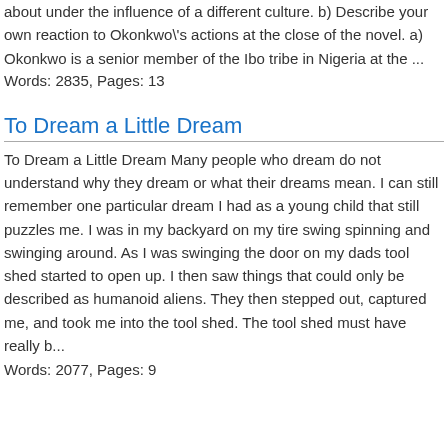about under the influence of a different culture. b) Describe your own reaction to Okonkwo's actions at the close of the novel. a) Okonkwo is a senior member of the Ibo tribe in Nigeria at the ...
Words: 2835, Pages: 13
To Dream a Little Dream
To Dream a Little Dream Many people who dream do not understand why they dream or what their dreams mean. I can still remember one particular dream I had as a young child that still puzzles me. I was in my backyard on my tire swing spinning and swinging around. As I was swinging the door on my dads tool shed started to open up. I then saw things that could only be described as humanoid aliens. They then stepped out, captured me, and took me into the tool shed. The tool shed must have really b...
Words: 2077, Pages: 9